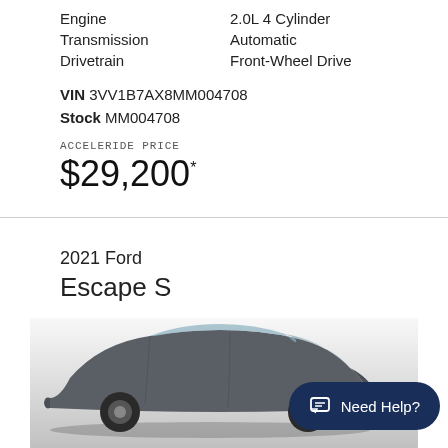Engine  2.0L 4 Cylinder
Transmission  Automatic
Drivetrain  Front-Wheel Drive
VIN 3VV1B7AX8MM004708
Stock MM004708
ACCELERIDE PRICE
$29,200*
2021 Ford Escape S
[Figure (photo): Photo of a 2021 Ford Escape S vehicle, dark gray/charcoal color, front three-quarter view, with a gradient gray background]
Need Help?